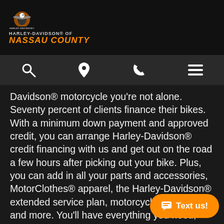[Figure (logo): Harley-Davidson of Nassau County logo with eagle graphic and orange text]
[Figure (infographic): Navigation bar with search, location pin, phone, and hamburger menu icons]
Davidson® motorcycle you're not alone. Seventy percent of clients finance their bikes. With a minimum down payment and approved credit, you can arrange Harley-Davidson® credit financing with us and get out on the road a few hours after picking out your bike. Plus, you can add in all your parts and accessories, MotorClothes® apparel, the Harley-Davidson® extended service plan, motorcycle Insurance and more. You'll have everything you need, and you only have to make one monthly payment.
And because we finance more Harley-Davidson® motorcycles than anyone else, we understand your special needs. Only someone who knows how you hit the starter button understands that hitting ASAP is your biggest concern. That's why we make it
[Figure (other): Orange 'Text us!' chat button with speech bubble icon]